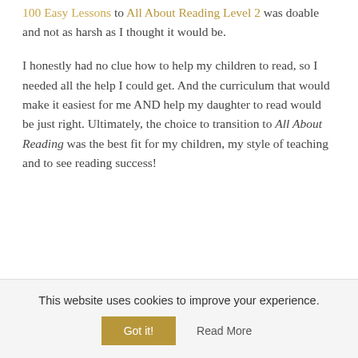100 Easy Lessons to All About Reading Level 2 was doable and not as harsh as I thought it would be.
I honestly had no clue how to help my children to read, so I needed all the help I could get. And the curriculum that would make it easiest for me AND help my daughter to read would be just right. Ultimately, the choice to transition to All About Reading was the best fit for my children, my style of teaching and to see reading success!
This website uses cookies to improve your experience.
Got it!   Read More